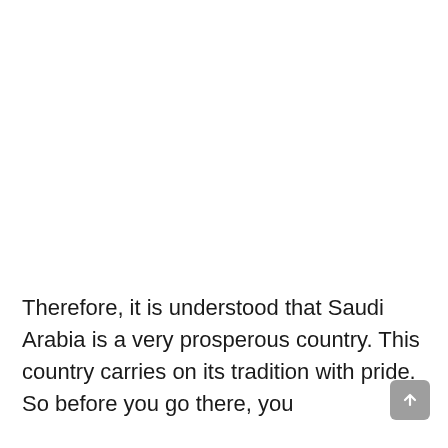Therefore, it is understood that Saudi Arabia is a very prosperous country. This country carries on its tradition with pride. So before you go there, you